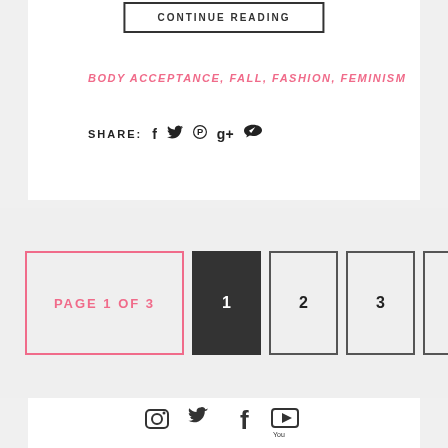CONTINUE READING
BODY ACCEPTANCE, FALL, FASHION, FEMINISM
SHARE: f ✦ ⊕ g+ ℁
PAGE 1 OF 3
1  2  3  »
[Figure (other): Social media icons: Instagram, Twitter, Facebook, YouTube]